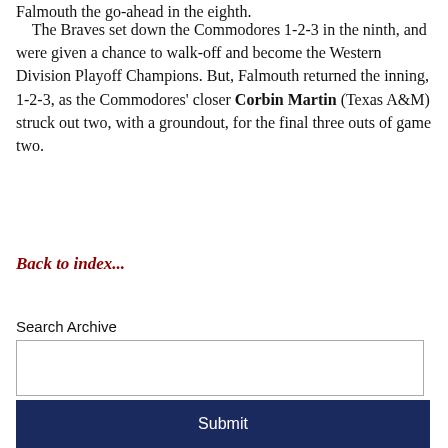Falmouth the go-ahead in the eighth.
The Braves set down the Commodores 1-2-3 in the ninth, and were given a chance to walk-off and become the Western Division Playoff Champions. But, Falmouth returned the inning, 1-2-3, as the Commodores' closer Corbin Martin (Texas A&M) struck out two, with a groundout, for the final three outs of game two.
Back to index...
Search Archive
Submit